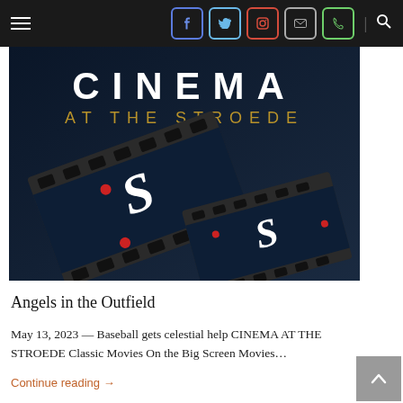Navigation bar with hamburger menu, social media icons (Facebook, Twitter, Instagram, Mail, Phone), divider, and search icon
[Figure (illustration): Cinema at the Stroede banner image showing film strip with Stroede logo 'S' symbol on dark blue/black background with text 'CINEMA AT THE STROEDE']
Angels in the Outfield
May 13, 2023 — Baseball gets celestial help CINEMA AT THE STROEDE Classic Movies On the Big Screen Movies...
Continue reading →